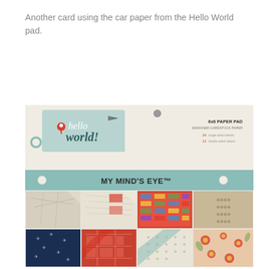Another card using the car paper from the Hello World pad.
[Figure (photo): Photo of a 'Hello World' 6x6 paper pad by My Mind's Eye, showing the front cover with logo tag, teal band with brand name, and a grid of colorful patterned paper swatches including maps, geometric patterns, floral, and travel-themed designs.]